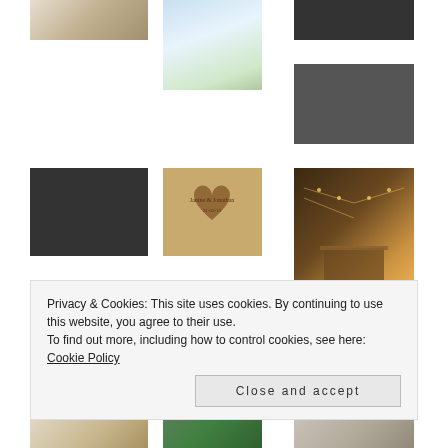[Figure (photo): Wedding couple dancing outdoors, top-left gallery image]
[Figure (photo): Bride spinning in white dress outdoors, tall center image]
[Figure (photo): Couple black and white photo, top-right]
[Figure (photo): Couple black and white photo, groom lifting veil, right side]
[Figure (photo): Couple dancing black and white, second row left]
[Figure (photo): Wooden heart keepsake engraved Janine & Jonathan 21-02-15, second row center]
[Figure (photo): Wedding venue with hanging lights and long banquet table, second row right]
[Figure (photo): Wedding cake bottom row, partially visible]
[Figure (photo): Floral arrangement bottom row center, partially visible]
[Figure (photo): Detail shot bottom row right, partially visible]
Privacy & Cookies: This site uses cookies. By continuing to use this website, you agree to their use.
To find out more, including how to control cookies, see here: Cookie Policy
Close and accept